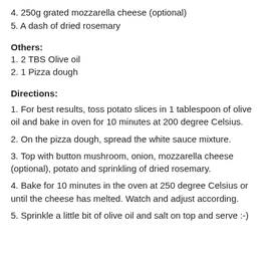4. 250g grated mozzarella cheese (optional)
5. A dash of dried rosemary
Others:
1. 2 TBS Olive oil
2. 1 Pizza dough
Directions:
1. For best results, toss potato slices in 1 tablespoon of olive oil and bake in oven for 10 minutes at 200 degree Celsius.
2. On the pizza dough, spread the white sauce mixture.
3. Top with button mushroom, onion, mozzarella cheese (optional), potato and sprinkling of dried rosemary.
4. Bake for 10 minutes in the oven at 250 degree Celsius or until the cheese has melted. Watch and adjust according.
5. Sprinkle a little bit of olive oil and salt on top and serve :-)